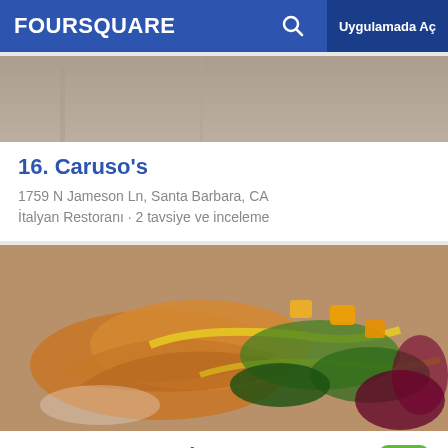FOURSQUARE  Uygulamada Aç
[Figure (photo): Top portion of a restaurant interior photo, showing kitchen/dining area]
16. Caruso's
1759 N Jameson Ln, Santa Barbara, CA
İtalyan Restoranı · 2 tavsiye ve inceleme
[Figure (photo): Food photo showing Mexican-style dish with tortillas, salad greens, mango, and yellow sauce]
17. Santo Mescal
119 State St, Santa Barbara, CA
Meksika Restoranı · Lower State · 12 tavsiye ve